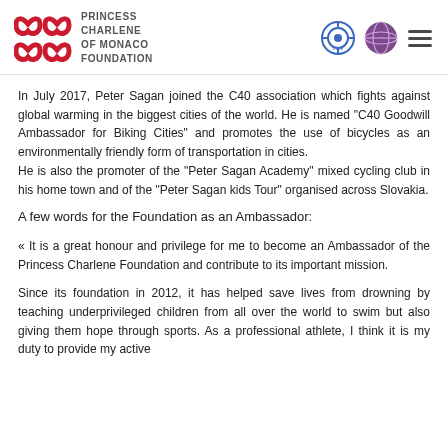PRINCESS CHARLENE OF MONACO FOUNDATION
In July 2017, Peter Sagan joined the C40 association which fights against global warming in the biggest cities of the world. He is named "C40 Goodwill Ambassador for Biking Cities" and promotes the use of bicycles as an environmentally friendly form of transportation in cities.
He is also the promoter of the "Peter Sagan Academy" mixed cycling club in his home town and of the "Peter Sagan kids Tour" organised across Slovakia.
A few words for the Foundation as an Ambassador:
« It is a great honour and privilege for me to become an Ambassador of the Princess Charlene Foundation and contribute to its important mission.
Since its foundation in 2012, it has helped save lives from drowning by teaching underprivileged children from all over the world to swim but also giving them hope through sports. As a professional athlete, I think it is my duty to provide my active